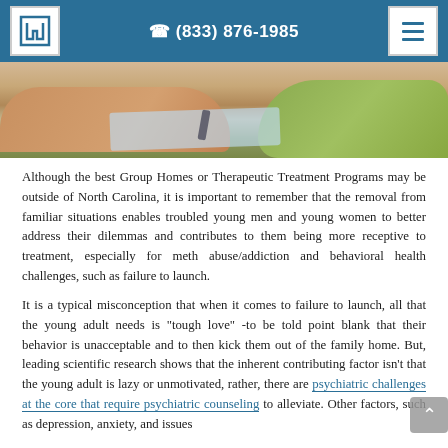(833) 876-1985
[Figure (photo): Two people at a table, one wearing a green sweater, appearing to write on papers during a counseling or consultation session.]
Although the best Group Homes or Therapeutic Treatment Programs may be outside of North Carolina, it is important to remember that the removal from familiar situations enables troubled young men and young women to better address their dilemmas and contributes to them being more receptive to treatment, especially for meth abuse/addiction and behavioral health challenges, such as failure to launch.
It is a typical misconception that when it comes to failure to launch, all that the young adult needs is "tough love" -to be told point blank that their behavior is unacceptable and to then kick them out of the family home. But, leading scientific research shows that the inherent contributing factor isn't that the young adult is lazy or unmotivated, rather, there are psychiatric challenges at the core that require psychiatric counseling to alleviate. Other factors, such as depression, anxiety, and issues